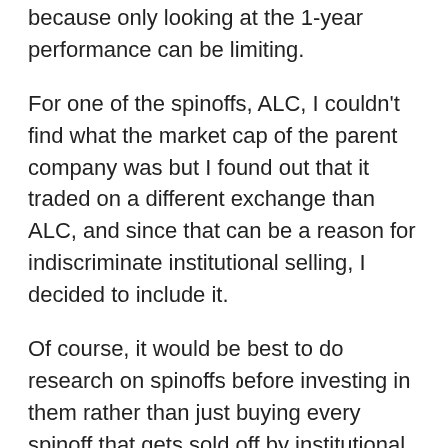because only looking at the 1-year performance can be limiting.
For one of the spinoffs, ALC, I couldn't find what the market cap of the parent company was but I found out that it traded on a different exchange than ALC, and since that can be a reason for indiscriminate institutional selling, I decided to include it.
Of course, it would be best to do research on spinoffs before investing in them rather than just buying every spinoff that gets sold off by institutional investors or has heavy insider buying, but still, this data proves that spinoffs can make great investments.